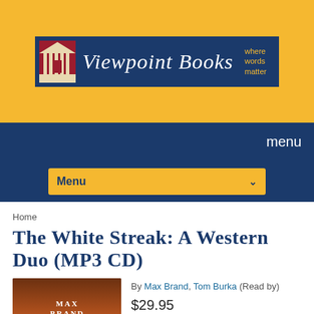[Figure (logo): Viewpoint Books logo on gold banner background with building icon and tagline 'where words matter']
menu
Menu
Home
The White Streak: A Western Duo (MP3 CD)
[Figure (photo): Book cover for The White Streak by Max Brand showing a cowboy on a rearing horse against a sunset]
By Max Brand, Tom Burka (Read by)
$29.95
Email or call for price.
Description